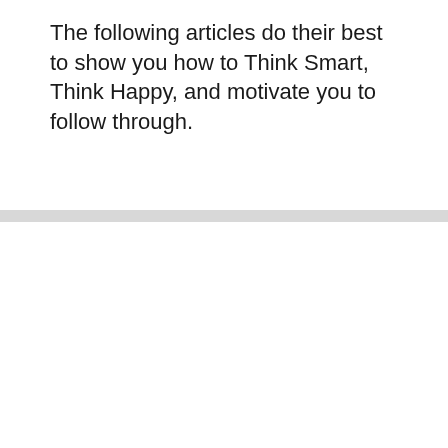The following articles do their best to show you how to Think Smart, Think Happy, and motivate you to follow through.
[Figure (illustration): An underwater photo of sea lions/otters swimming, overlaid with cyan text reading 'Love is the answer. but how can you get more of it?' The word 'Love' appears large in bold cyan, with smaller italic text below. To the right of the image, the letters L, O, V, E appear vertically in large black bold text.]